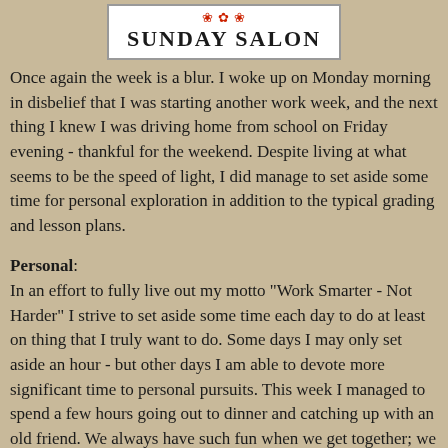[Figure (logo): Sunday Salon logo with decorative flowers on top and text 'Sunday Salon' in a white bordered box]
Once again the week is a blur.  I woke up on Monday morning in disbelief that I was starting another work week, and the next thing I knew I was driving home from school on Friday evening - thankful for the weekend.  Despite living at what seems to be the speed of light, I did manage to set aside some time for personal exploration in addition to the typical grading and lesson plans.
Personal:
In an effort to fully live out my motto "Work Smarter - Not Harder" I strive to set aside some time each day to do at least on thing that I truly want to do.  Some days I may only set aside an hour - but other days I am able to devote more significant time to personal pursuits.  This week I managed to spend a few hours going out to dinner and catching up with an old friend.  We always have such fun when we get together; we just wait too long between visits.  I will try to remedy that in the future.
[Figure (photo): Partial photo visible at the bottom of the page]